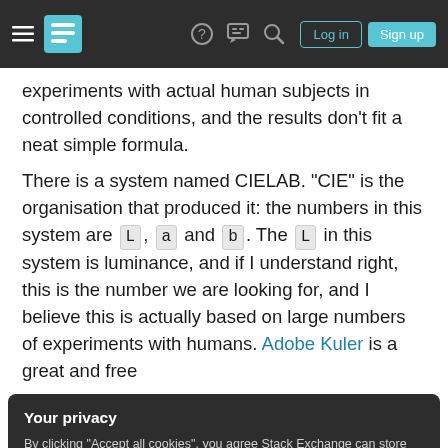Stack Exchange navigation bar with hamburger menu, logo, help, chat, search icons, Log in and Sign up buttons
experiments with actual human subjects in controlled conditions, and the results don't fit a neat simple formula.
There is a system named CIELAB. "CIE" is the organisation that produced it: the numbers in this system are L, a and b. The L in this system is luminance, and if I understand right, this is the number we are looking for, and I believe this is actually based on large numbers of experiments with humans. Adobe Kuler is a great and free
Your privacy
By clicking "Accept all cookies", you agree Stack Exchange can store cookies on your device and disclose information in accordance with our Cookie Policy.
Accept all cookies   Customize settings
The Munsell colour system uses Hue, Value and